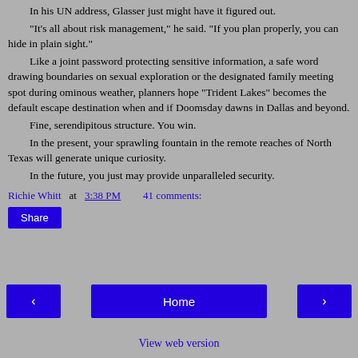In his UN address, Glasser just might have it figured out. "It's all about risk management," he said. "If you plan properly, you can hide in plain sight." Like a joint password protecting sensitive information, a safe word drawing boundaries on sexual exploration or the designated family meeting spot during ominous weather, planners hope "Trident Lakes" becomes the default escape destination when and if Doomsday dawns in Dallas and beyond. Fine, serendipitous structure. You win. In the present, your sprawling fountain in the remote reaches of North Texas will generate unique curiosity. In the future, you just may provide unparalleled security.
Richie Whitt at 3:38 PM   41 comments:
Share
◄   Home   ►
View web version